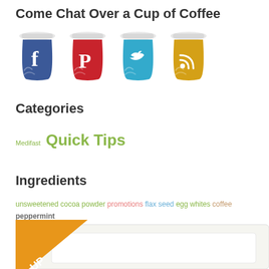Come Chat Over a Cup of Coffee
[Figure (illustration): Four coffee cups with social media icons: Facebook (blue), Pinterest (red), Twitter (teal), RSS (gold/yellow)]
Categories
Medifast Quick Tips
Ingredients
unsweetened cocoa powder promotions flax seed egg whites coffee peppermint stevia affiliates coconut flour
[Figure (illustration): Orange ribbon banner with text 'SIGN UP' in bottom corner]